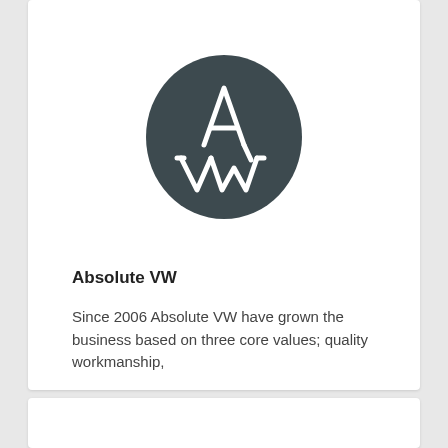[Figure (logo): Absolute VW logo: dark grey oval/circle shape with stylized white letter A above and stylized white letters VW below in script style]
Absolute VW
Since 2006 Absolute VW have grown the business based on three core values; quality workmanship,